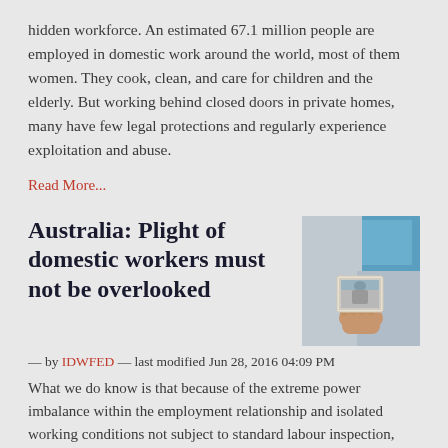hidden workforce. An estimated 67.1 million people are employed in domestic work around the world, most of them women. They cook, clean, and care for children and the elderly. But working behind closed doors in private homes, many have few legal protections and regularly experience exploitation and abuse.
Read More...
Australia: Plight of domestic workers must not be overlooked
[Figure (photo): Hand holding a photograph, with blurred background of a blue sign and grey wall]
— by IDWFED — last modified Jun 28, 2016 04:09 PM
What we do know is that because of the extreme power imbalance within the employment relationship and isolated working conditions not subject to standard labour inspection, domestic workers are among the most marginalised and exploited workers in the world today.